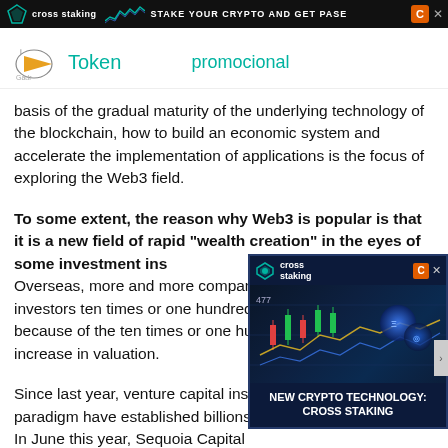[Figure (screenshot): Top banner advertisement for 'cross staking' with dark background, logo, chart graphic, slogan 'STAKE YOUR CRYPTO AND GET PASE', orange C icon and X close button]
Token    promocional
basis of the gradual maturity of the underlying technology of the blockchain, how to build an economic system and accelerate the implementation of applications is the focus of exploring the Web3 field.
To some extent, the reason why Web3 is popular is that it is a new field of rapid "wealth creation" in the eyes of some investment institutions. Overseas, more and more companies have given investors ten times or one hundred times returns because of the ten times or one hundred times increase in valuation.
[Figure (screenshot): Popup advertisement for 'cross staking' with dark blue background, candlestick chart graphic with glowing crypto coins, text 'NEW CRYPTO TECHNOLOGY: CROSS STAKING', orange C coin logo, and X close button]
Since last year, venture capital institutions such as a16z and paradigm have established billions of dollars of Web3 funds. In June this year, Sequoia Capital